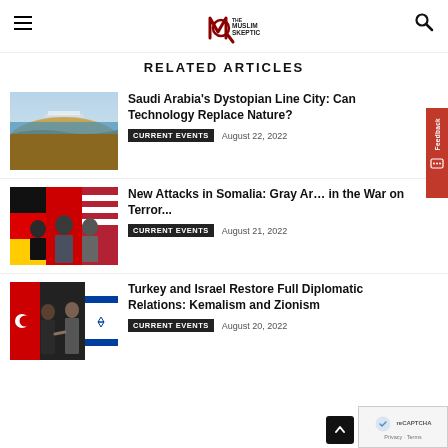The Muslim Skeptic
RELATED ARTICLES
[Figure (photo): Aerial view of Saudi Arabia's The Line city project in desert landscape]
Saudi Arabia's Dystopian Line City: Can Technology Replace Nature?
CURRENT EVENTS   August 22, 2022
[Figure (photo): Military officials standing in front of flags at a press conference]
New Attacks in Somalia: Gray Ar… in the War on Terror...
CURRENT EVENTS   August 21, 2022
[Figure (photo): Two men shaking hands in front of Turkish and Israeli flags]
Turkey and Israel Restore Full Diplomatic Relations: Kemalism and Zionism
CURRENT EVENTS   August 20, 2022